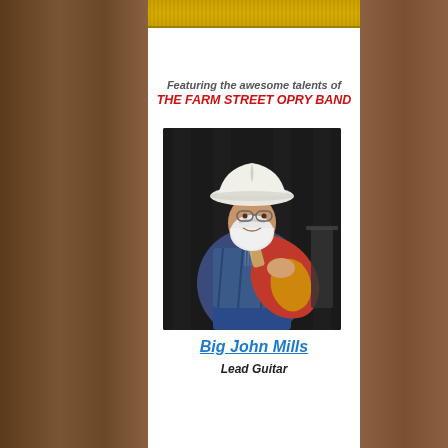[Figure (photo): Top banner image showing the Farm Street Opry Band on stage with yellow background]
Featuring the awesome talents of
THE FARM STREET OPRY BAND
[Figure (photo): Photo of Big John Mills, a bearded man wearing a white cowboy hat playing a red and gold electric guitar, wearing a patterned shirt and jeans, standing in front of a dark curtain backdrop]
Big John Mills
Lead Guitar